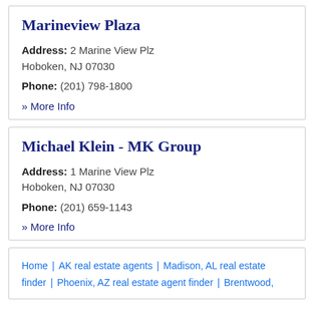Marineview Plaza
Address: 2 Marine View Plz
Hoboken, NJ 07030
Phone: (201) 798-1800
» More Info
Michael Klein - MK Group
Address: 1 Marine View Plz
Hoboken, NJ 07030
Phone: (201) 659-1143
» More Info
Home | AK real estate agents | Madison, AL real estate finder | Phoenix, AZ real estate agent finder | Brentwood,